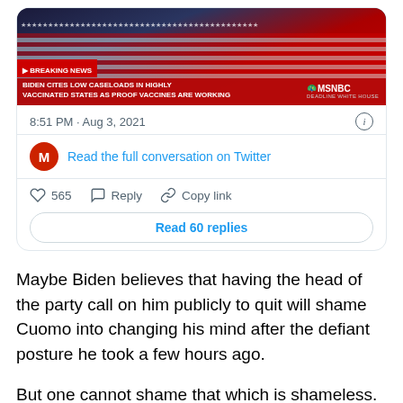[Figure (screenshot): MSNBC breaking news screenshot embedded in tweet: BIDEN CITES LOW CASELOADS IN HIGHLY VACCINATED STATES AS PROOF VACCINES ARE WORKING]
8:51 PM · Aug 3, 2021
Read the full conversation on Twitter
565   Reply   Copy link
Read 60 replies
Maybe Biden believes that having the head of the party call on him publicly to quit will shame Cuomo into changing his mind after the defiant posture he took a few hours ago.
But one cannot shame that which is shameless. If Americans had any lingering doubt over whether Cuomo's a remorseless